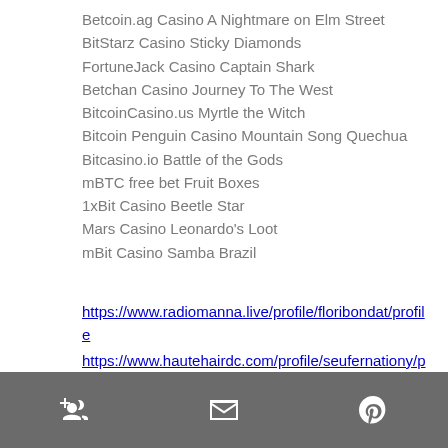Betcoin.ag Casino A Nightmare on Elm Street
BitStarz Casino Sticky Diamonds
FortuneJack Casino Captain Shark
Betchan Casino Journey To The West
BitcoinCasino.us Myrtle the Witch
Bitcoin Penguin Casino Mountain Song Quechua
Bitcasino.io Battle of the Gods
mBTC free bet Fruit Boxes
1xBit Casino Beetle Star
Mars Casino Leonardo's Loot
mBit Casino Samba Brazil
https://www.radiomanna.live/profile/floribondat/profile
https://www.hautehairdc.com/profile/seufernationy/profile
https://www.basileiuon.com/profile/simonikas...
https://www.rscapportscreativity.org/promonse...